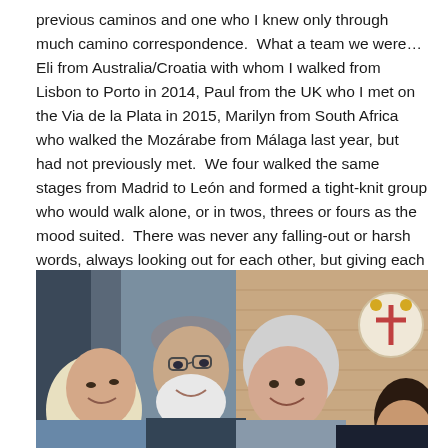previous caminos and one who I knew only through much camino correspondence.  What a team we were…Eli from Australia/Croatia with whom I walked from Lisbon to Porto in 2014, Paul from the UK who I met on the Via de la Plata in 2015, Marilyn from South Africa who walked the Mozárabe from Málaga last year, but had not previously met.  We four walked the same stages from Madrid to León and formed a tight-knit group who would walk alone, or in twos, threes or fours as the mood suited.  There was never any falling-out or harsh words, always looking out for each other, but giving each other space as required.
[Figure (photo): A group selfie photograph of four people smiling together. A woman with light blonde hair is at the left, a man with a white beard is in the center-left, a woman with grey-white hair is in the center-right, and a fourth person is partially visible at the right edge. Behind them is a brick wall and what appears to be a decorative emblem.]